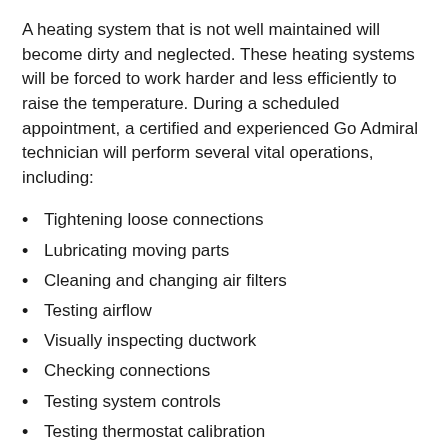A heating system that is not well maintained will become dirty and neglected. These heating systems will be forced to work harder and less efficiently to raise the temperature. During a scheduled appointment, a certified and experienced Go Admiral technician will perform several vital operations, including:
Tightening loose connections
Lubricating moving parts
Cleaning and changing air filters
Testing airflow
Visually inspecting ductwork
Checking connections
Testing system controls
Testing thermostat calibration
We will help you reduce your energy usage and lower your monthly bill in the process.